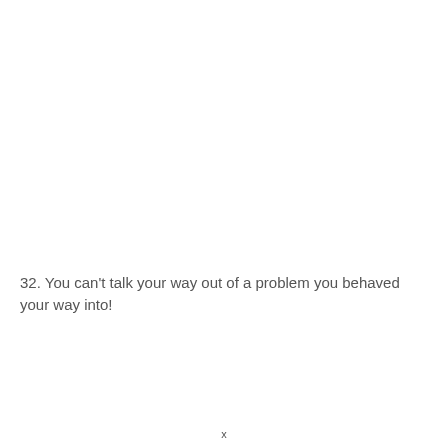32. You can't talk your way out of a problem you behaved your way into!
x